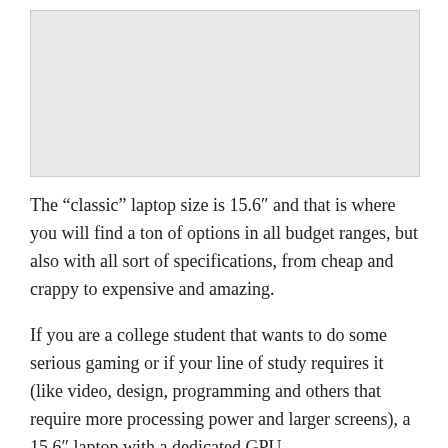[Figure (photo): Image placeholder area at top of page]
The “classic” laptop size is 15.6″ and that is where you will find a ton of options in all budget ranges, but also with all sort of specifications, from cheap and crappy to expensive and amazing.
If you are a college student that wants to do some serious gaming or if your line of study requires it (like video, design, programming and others that require more processing power and larger screens), a 15.6″ laptop with a dedicated GPU